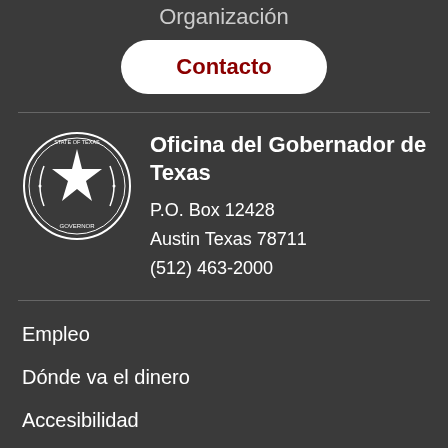Organización
Contacto
[Figure (logo): State of Texas Governor seal — circular emblem with star and text]
Oficina del Gobernador de Texas
P.O. Box 12428
Austin Texas 78711
(512) 463-2000
Empleo
Dónde va el dinero
Accesibilidad
Búsqueda TRAIL